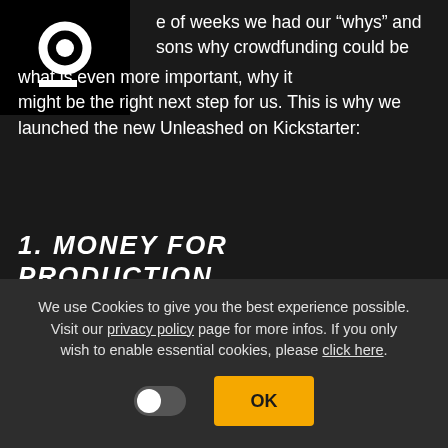[Figure (logo): Black square with white letter 'a' logo and horizontal line beneath it]
e of weeks we had our “whys” and sons why crowdfunding could be what is even more important, why it might be the right next step for us. This is why we launched the new Unleashed on Kickstarter:
1. MONEY FOR PRODUCTION.
Marc Andreessen, a pretty famous investor, once said: “Hardware is hard”. Well, we couldn’t agree
We use Cookies to give you the best experience possible. Visit our privacy policy page for more infos. If you only wish to enable essential cookies, please click here.